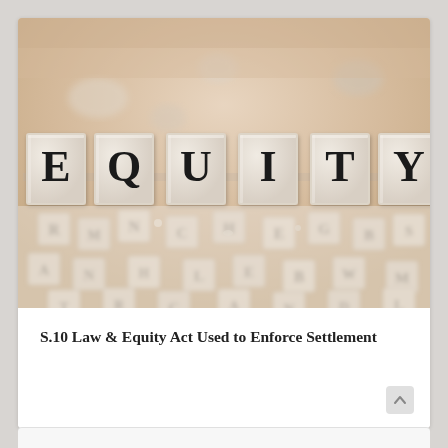[Figure (photo): Photograph of wooden letter tiles spelling EQUITY in large bold serif letters on raised blocks, with scattered smaller letter tiles in the background. Warm beige/cream tones with soft focus background.]
S.10 Law & Equity Act Used to Enforce Settlement